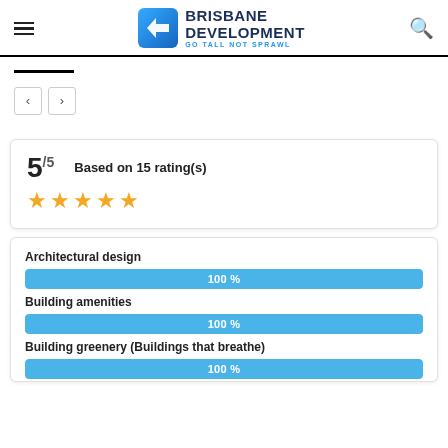Brisbane Development — GO TALL NOT SPRAWL
5/5  Based on 15 rating(s)
★★★★★
Architectural design
[Figure (bar-chart): Architectural design rating]
Building amenities
[Figure (bar-chart): Building amenities rating]
Building greenery (Buildings that breathe)
[Figure (bar-chart): Building greenery rating]